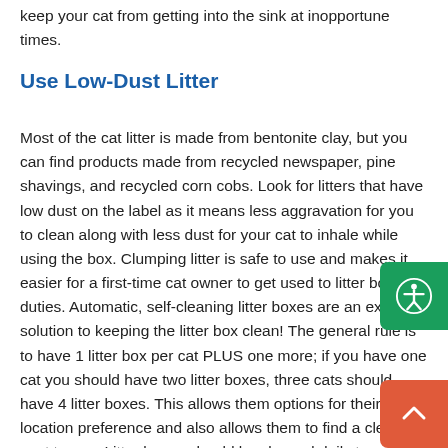keep your cat from getting into the sink at inopportune times.
Use Low-Dust Litter
Most of the cat litter is made from bentonite clay, but you can find products made from recycled newspaper, pine shavings, and recycled corn cobs. Look for litters that have low dust on the label as it means less aggravation for you to clean along with less dust for your cat to inhale while using the box. Clumping litter is safe to use and makes it easier for a first-time cat owner to get used to litter box duties. Automatic, self-cleaning litter boxes are an excellent solution to keeping the litter box clean! The general rule is to have 1 litter box per cat PLUS one more; if you have one cat you should have two litter boxes, three cats should have 4 litter boxes. This allows them options for their location preference and also allows them to find a clean spot to use. Litter boxes should be cleaned daily to